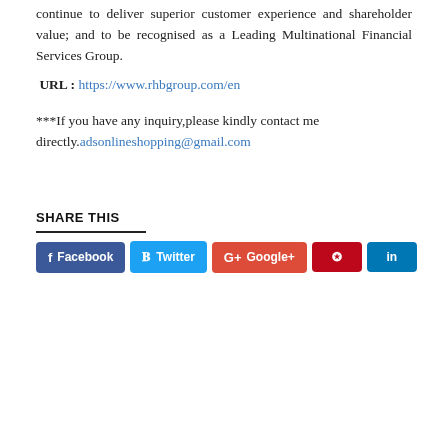continue to deliver superior customer experience and shareholder value; and to be recognised as a Leading Multinational Financial Services Group.
URL : https://www.rhbgroup.com/en
***If you have any inquiry,please kindly contact me directly.adsonlineshopping@gmail.com
SHARE THIS
[Figure (other): Social share buttons: Facebook, Twitter, Google+, Pinterest, LinkedIn]
[Figure (photo): Image showing MOMMY HANA branding in purple text on grey background with JOBSVACANCY badge and caption: JOBS VACANCY | DIGITAL MARKETER (BASED IN SETIA ALAM – 2 PAX) | EXPIRES 03 FEBRUARY 2022]